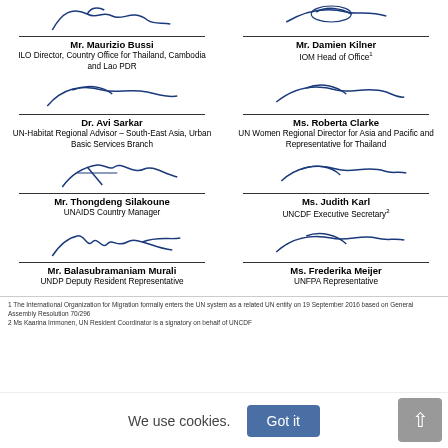[Figure (illustration): Signature of Mr. Maurizio Bussi]
Mr. Maurizio Bussi
ILO Director, Country Office for Thailand, Cambodia and Lao PDR
[Figure (illustration): Signature of Mr. Damien Kilner]
Mr. Damien Kilner
IOM Head of Office¹
[Figure (illustration): Signature of Dr. Avi Sarkar]
Dr. Avi Sarkar
UN-Habitat Regional Advisor – South-East Asia, Urban Basic Services Branch
[Figure (illustration): Signature of Ms. Roberta Clarke]
Ms. Roberta Clarke
UN Women Regional Director for Asia and Pacific and Representative for Thailand
[Figure (illustration): Signature of Mr. Thongdeng Silakoune]
Mr. Thongdeng Silakoune
UNAIDS Country Manager
[Figure (illustration): Signature of Ms. Judith Karl]
Ms. Judith Karl
UNCDF Executive Secretary²
[Figure (illustration): Signature of Mr. Balasubramaniam Murali]
Mr. Balasubramaniam Murali
UNDP Deputy Resident Representative
[Figure (illustration): Signature of Ms. Frederika Meijer]
Ms. Frederika Meijer
UNFPA Representative
1 The International Organization for Migration formally enters the UN system as a related UN entity on 19 September 2016 based on General Assembly Resolution 70/296
2 Ms Kaarina Immonen, UN Resident Coordinator is a signatory on behalf of UNCDF